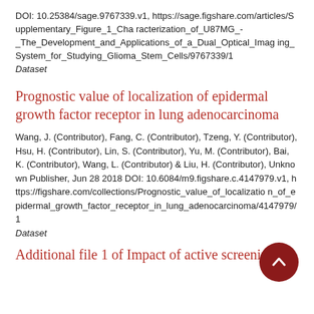DOI: 10.25384/sage.9767339.v1, https://sage.figshare.com/articles/Supplementary_Figure_1_Characterization_of_U87MG_-_The_Development_and_Applications_of_a_Dual_Optical_Imaging_System_for_Studying_Glioma_Stem_Cells/9767339/1
Dataset
Prognostic value of localization of epidermal growth factor receptor in lung adenocarcinoma
Wang, J. (Contributor), Fang, C. (Contributor), Tzeng, Y. (Contributor), Hsu, H. (Contributor), Lin, S. (Contributor), Yu, M. (Contributor), Bai, K. (Contributor), Wang, L. (Contributor) & Liu, H. (Contributor), Unknown Publisher, Jun 28 2018 DOI: 10.6084/m9.figshare.c.4147979.v1, https://figshare.com/collections/Prognostic_value_of_localization_of_epidermal_growth_factor_receptor_in_lung_adenocarcinoma/4147979/1
Dataset
Additional file 1 of Impact of active screening for